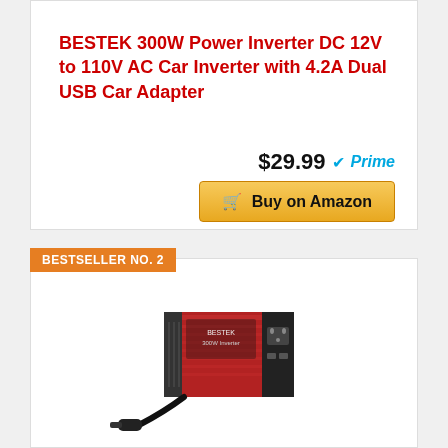BESTEK 300W Power Inverter DC 12V to 110V AC Car Inverter with 4.2A Dual USB Car Adapter
$29.99 ✓Prime
Buy on Amazon
BESTSELLER NO. 2
[Figure (photo): Red car power inverter with black cables and USB ports, shown with cigarette lighter plug adapter]